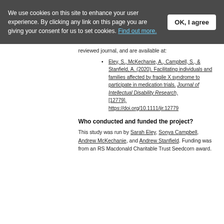We use cookies on this site to enhance your user experience. By clicking any link on this page you are giving your consent for us to set cookies. Find out more.
reviewed journal, and are available at:
Eley, S., McKechanie, A., Campbell, S., & Stanfield, A. (2020). Facilitating individuals and families affected by fragile X syndrome to participate in medication trials. Journal of Intellectual Disability Research, [12779]. https://doi.org/10.1111/jir.12779
Who conducted and funded the project?
This study was run by Sarah Eley, Sonya Campbell, Andrew McKechanie, and Andrew Stanfield. Funding was from an RS Macdonald Charitable Trust Seedcorn award.